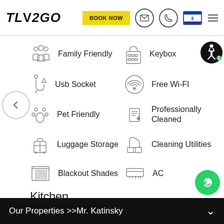TLV2GO | BOOK NOW
Family Friendly
Keybox
Usb Socket
Free Wi-FI
Pet Friendly
Professionally Cleaned
Luggage Storage
Cleaning Utilities
Blackout Shades
AC
Kitchen
Dining Table
Cookware & Kitchen Utensils
Our Properties >>Mr. Katinsky